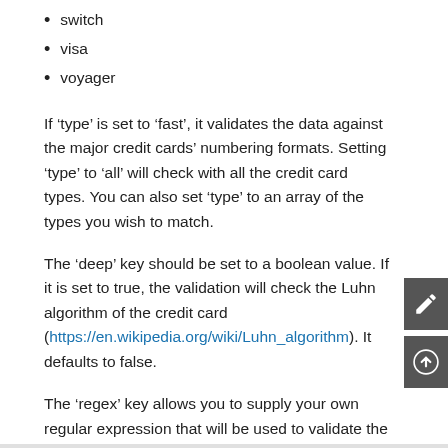switch
visa
voyager
If ‘type’ is set to ‘fast’, it validates the data against the major credit cards’ numbering formats. Setting ‘type’ to ‘all’ will check with all the credit card types. You can also set ‘type’ to an array of the types you wish to match.
The ‘deep’ key should be set to a boolean value. If it is set to true, the validation will check the Luhn algorithm of the credit card (https://en.wikipedia.org/wiki/Luhn_algorithm). It defaults to false.
The ‘regex’ key allows you to supply your own regular expression that will be used to validate the credit card number.